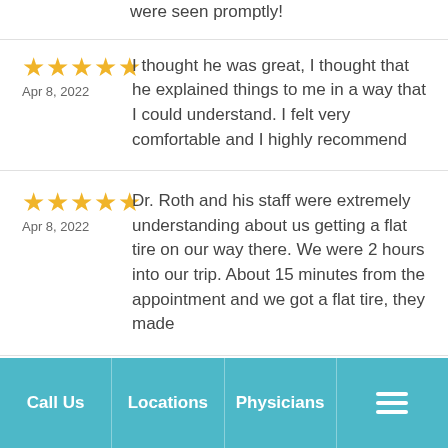were seen promptly!
★★★★★ Apr 8, 2022 — I thought he was great, I thought that he explained things to me in a way that I could understand. I felt very comfortable and I highly recommend
★★★★★ Apr 8, 2022 — Dr. Roth and his staff were extremely understanding about us getting a flat tire on our way there. We were 2 hours into our trip. About 15 minutes from the appointment and we got a flat tire, they made
Call Us | Locations | Physicians | Menu